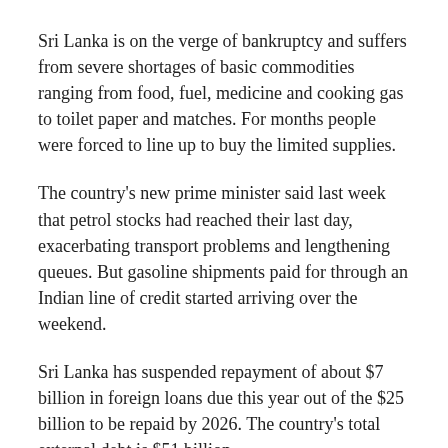Sri Lanka is on the verge of bankruptcy and suffers from severe shortages of basic commodities ranging from food, fuel, medicine and cooking gas to toilet paper and matches. For months people were forced to line up to buy the limited supplies.
The country's new prime minister said last week that petrol stocks had reached their last day, exacerbating transport problems and lengthening queues. But gasoline shipments paid for through an Indian line of credit started arriving over the weekend.
Sri Lanka has suspended repayment of about $7 billion in foreign loans due this year out of the $25 billion to be repaid by 2026. The country's total external debt is $51 billion.
In addition, India has provided $3.5 billion in economic aid in the form of loans and buyer credits for food, medicine and fuel.
Sri Lanka's economic crisis has created political unrest with a